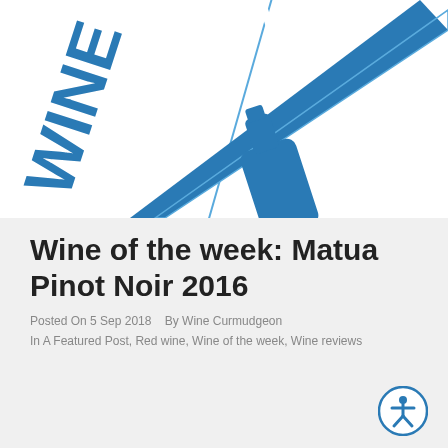[Figure (illustration): Wine of the week logo: blue wine bottle on a diagonal flag banner with text 'WINE OF THE WEEK' in large bold blue letters]
Wine of the week: Matua Pinot Noir 2016
Posted On 5 Sep 2018   By Wine Curmudgeon
In A Featured Post, Red wine, Wine of the week, Wine reviews